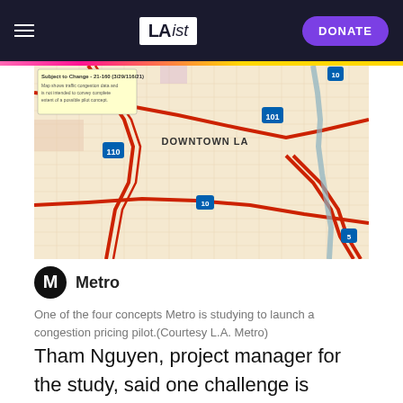LAist — DONATE
[Figure (map): A traffic/congestion map of Downtown LA showing major highways (110, 101, 10, 5) and street grid with red lines indicating high-traffic roads. Label reads 'DOWNTOWN LA' and includes a disclaimer about subject to change.]
Metro
One of the four concepts Metro is studying to launch a congestion pricing pilot.(Courtesy L.A. Metro)
Tham Nguyen, project manager for the study, said one challenge is selling the concept of charging drivers to use high-demand roads in car-centric